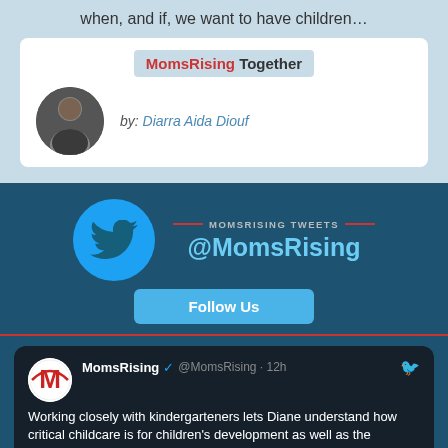when, and if, we want to have children…
MomsRising Together
by: Diarra Aida Diouf
MOMSRISING TWEETS @MomsRising
Follow Us
MomsRising @MomsRising · 12h Working closely with kindergarteners lets Diane understand how critical childcare is for children's development as well as the shortage of workers causing many businesses to fail